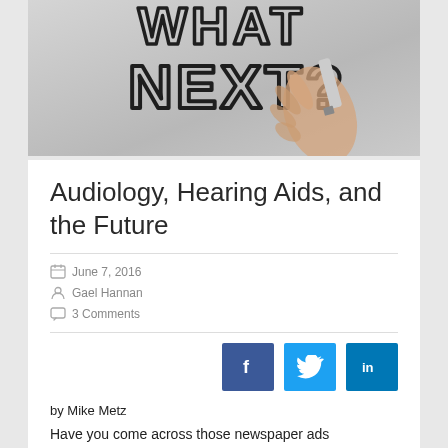[Figure (photo): A hand holding a marker writing 'WHAT'S NEXT?' in bold hand-drawn lettering on a glass surface, grey background]
Audiology, Hearing Aids, and the Future
June 7, 2016
Gael Hannan
3 Comments
[Figure (infographic): Social share buttons: Facebook (f), Twitter (bird), LinkedIn (in)]
by Mike Metz
Have you come across those newspaper ads